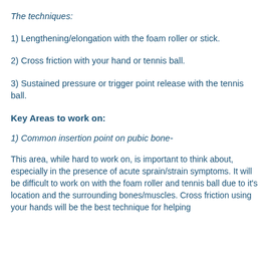The techniques:
1) Lengthening/elongation with the foam roller or stick.
2) Cross friction with your hand or tennis ball.
3) Sustained pressure or trigger point release with the tennis ball.
Key Areas to work on:
1) Common insertion point on pubic bone-
This area, while hard to work on, is important to think about, especially in the presence of acute sprain/strain symptoms. It will be difficult to work on with the foam roller and tennis ball due to it's location and the surrounding bones/muscles. Cross friction using your hands will be the best technique for helping